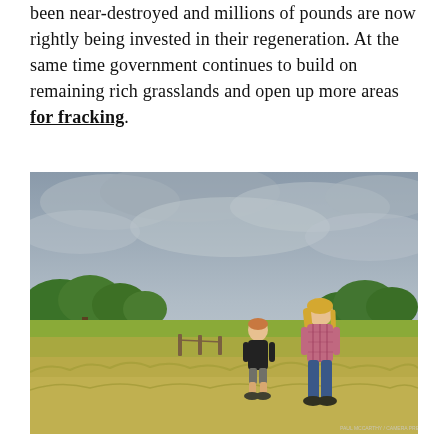been near-destroyed and millions of pounds are now rightly being invested in their regeneration. At the same time government continues to build on remaining rich grasslands and open up more areas for fracking.
[Figure (photo): Two people standing in a wild grassland meadow under a cloudy sky, with trees in the background. One person wears a black t-shirt and shorts, the other wears a plaid shirt and jeans.]